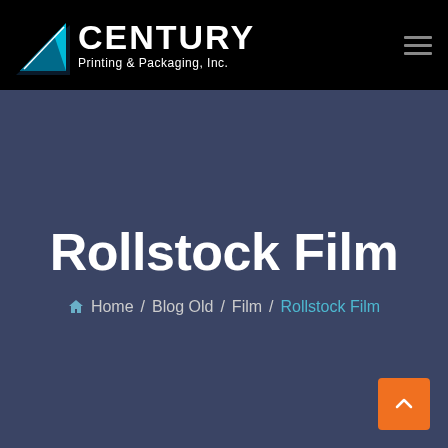[Figure (logo): Century Printing & Packaging, Inc. logo with cyan/blue triangular paper airplane icon and white bold CENTURY text with subtitle]
Rollstock Film
🏠 Home / Blog Old / Film / Rollstock Film